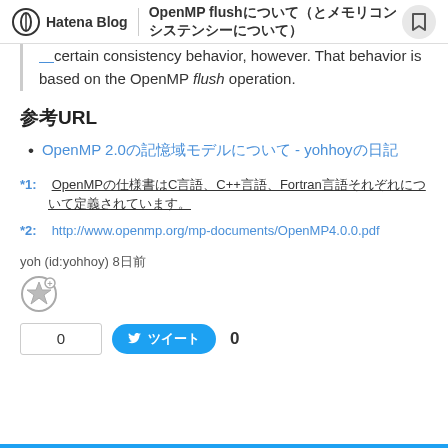Hatena Blog  OpenMP flush（とメモリコンシステンシーについて）
certain consistency behavior, however. That behavior is based on the OpenMP flush operation.
参考URL
OpenMP 2.0の記憶域モデルについて - yohhoyの日記
*1:  OpenMPの仕様書はC言語、C++言語、Fortran言語それぞれについて定義されています。
*2:  http://www.openmp.org/mp-documents/OpenMP4.0.0.pdf
yoh (id:yohhoy) 8日前